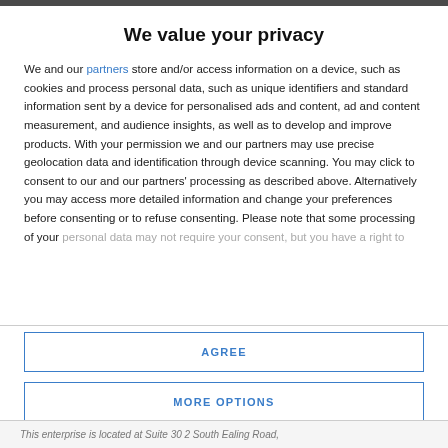We value your privacy
We and our partners store and/or access information on a device, such as cookies and process personal data, such as unique identifiers and standard information sent by a device for personalised ads and content, ad and content measurement, and audience insights, as well as to develop and improve products. With your permission we and our partners may use precise geolocation data and identification through device scanning. You may click to consent to our and our partners' processing as described above. Alternatively you may access more detailed information and change your preferences before consenting or to refuse consenting. Please note that some processing of your personal data may not require your consent, but you have a right to
AGREE
MORE OPTIONS
This enterprise is located at Suite 30 2 South Ealing Road,